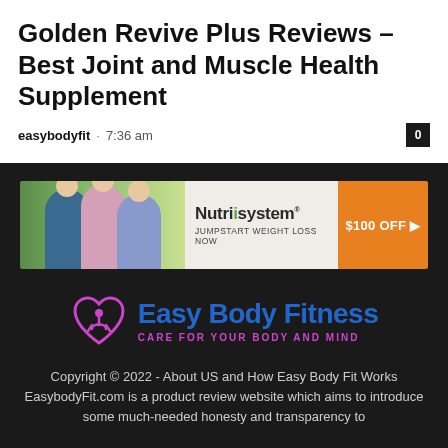Golden Revive Plus Reviews – Best Joint and Muscle Health Supplement
easybodyfit · 7:36 am
[Figure (infographic): Nutrisystem advertisement banner with people and '$100 OFF ▶' call-to-action button, tagline 'JUMPSTART WEIGHT LOSS NOW']
[Figure (logo): Easy Body Fitness logo with purple heart icon and tagline 'CARE FOR YOUR BODY AND MIND']
Copyright © 2022 - About US and How Easy Body Fit Works EasybodyFit.com is a product review website which aims to introduce some much-needed honesty and transparency to